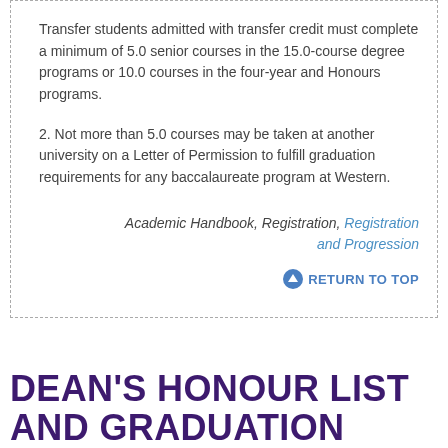Transfer students admitted with transfer credit must complete a minimum of 5.0 senior courses in the 15.0-course degree programs or 10.0 courses in the four-year and Honours programs.
2. Not more than 5.0 courses may be taken at another university on a Letter of Permission to fulfill graduation requirements for any baccalaureate program at Western.
Academic Handbook, Registration, Registration and Progression
RETURN TO TOP
DEAN'S HONOUR LIST AND GRADUATION